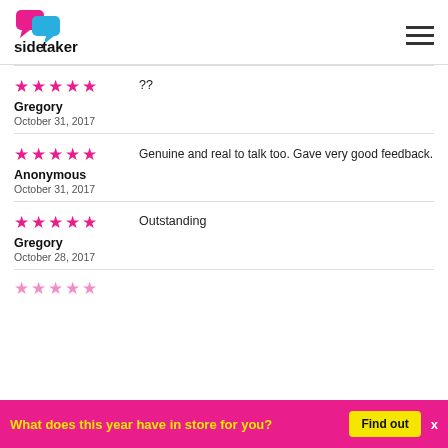[Figure (logo): SideTaker logo with speech bubble icons in pink and blue, text 'sidetaker' in bold black]
Gregory | October 31, 2017 | 5 stars | ??
Anonymous | October 31, 2017 | 5 stars | Genuine and real to talk too. Gave very good feedback.
Gregory | October 28, 2017 | 5 stars | Outstanding
What does this year have in store for you? Find out